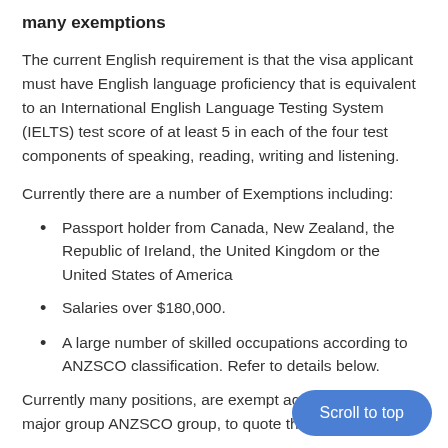many exemptions
The current English requirement is that the visa applicant must have English language proficiency that is equivalent to an International English Language Testing System (IELTS) test score of at least 5 in each of the four test components of speaking, reading, writing and listening.
Currently there are a number of Exemptions including:
Passport holder from Canada, New Zealand, the Republic of Ireland, the United Kingdom or the United States of America
Salaries over $180,000.
A large number of skilled occupations according to ANZSCO classification. Refer to details below.
Currently many positions, are exempt acco... major group ANZSCO group, to quote the relevant